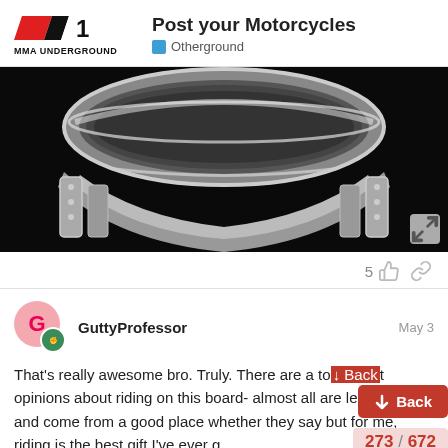Post your Motorcycles — Otherground (MMA Underground)
[Figure (photo): Close-up photo of a motorcycle engine showing chrome parts, air filter, and cylinders against dark background]
5 [likes] [link]
GuttyProfessor  May 3
That's really awesome bro. Truly. There are a to[t] of opinions about riding on this board- almost all are legitimate and come from a good place whether they say [ride or not] but for me, riding is the best gift I've ever g[iven myself]